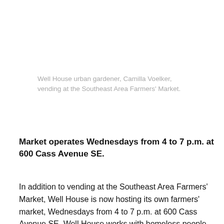Well House urban gardener, Camilla Voelker, vending at the Southeast Area Farmers' Market.
Market operates Wednesdays from 4 to 7 p.m. at 600 Cass Avenue SE.
In addition to vending at the Southeast Area Farmers' Market, Well House is now hosting its own farmers' market, Wednesdays from 4 to 7 p.m. at 600 Cass Avenue SE. Well House works with homeless people by providing safe, affordable, long-term housing. Thirteen